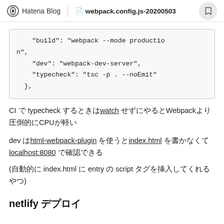Hatena Blog | webpack.config.js-20200503
"build": "webpack --mode production",
    "dev": "webpack-dev-server",
    "typecheck": "tsc -p . --noEmit"
  },
CI で typecheck するときはwatch せずにやるとWebpackより圧倒的にCPUが軽い
dev はhtml-webpack-plugin を使うとindex.html を書かなくてlocalhost:8080 で確認できる
(自動的に index.html に entry の script タグを挿入してくれるやつ)
netlify デプロイ